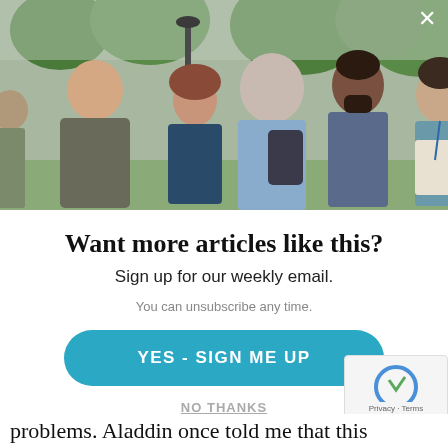[Figure (photo): Group of people conversing outdoors in a park setting. Multiple adults of diverse appearance standing in a circle talking, with green trees and a lamp post visible in the background.]
Want more articles like this?
Sign up for our weekly email.
You can unsubscribe any time.
YES - SIGN ME UP
NO THANKS
problems. Aladdin once told me that this